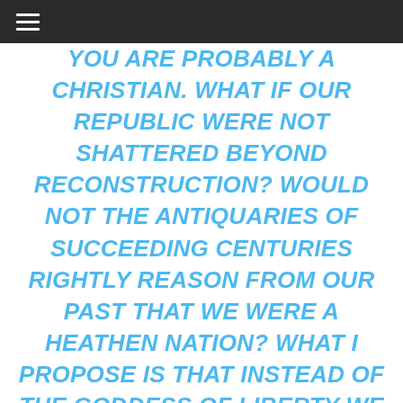YOU ARE PROBABLY A CHRISTIAN. WHAT IF OUR REPUBLIC WERE NOT SHATTERED BEYOND RECONSTRUCTION? WOULD NOT THE ANTIQUARIES OF SUCCEEDING CENTURIES RIGHTLY REASON FROM OUR PAST THAT WE WERE A HEATHEN NATION? WHAT I PROPOSE IS THAT INSTEAD OF THE GODDESS OF LIBERTY WE SHALL HAVE NEXT INSIDE THE 13 STARS A RING INSCRIBED WITH THE WORDS PERPETUAL UNION; WITHIN THE RING THE ALL-SEEING EYE